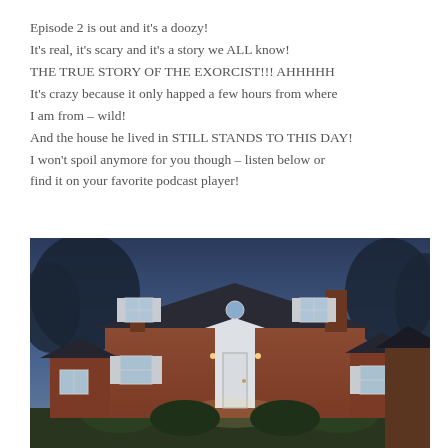Episode 2 is out and it's a doozy! It's real, it's scary and it's a story we ALL know! THE TRUE STORY OF THE EXORCIST!!! AHHHHH It's crazy because it only happed a few hours from where I am from – wild! And the house he lived in STILL STANDS TO THIS DAY! I won't spoil anymore for you though – listen below or find it on your favorite podcast player!
[Figure (photo): A brick colonial-style house photographed at dusk/twilight with a white front door and white trim shutters, surrounded by bare trees on both sides, warm lighting illuminating the entrance.]